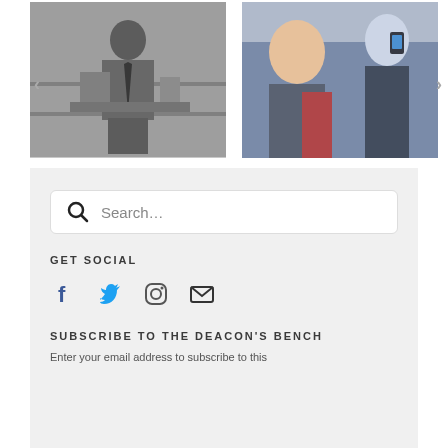[Figure (photo): Black and white photo of a man in a suit sitting at a workbench with equipment, with a left arrow navigation indicator]
[Figure (photo): Color photo of young men at an event, one holding a phone/camera, with a right arrow navigation indicator]
[Figure (screenshot): Search bar with magnifying glass icon and placeholder text 'Search...']
GET SOCIAL
[Figure (infographic): Social media icons: Facebook (f), Twitter (bird), Instagram (camera outline), Email (envelope)]
SUBSCRIBE TO THE DEACON'S BENCH
Enter your email address to subscribe to this